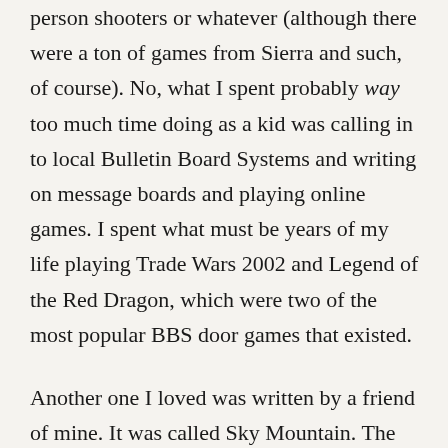person shooters or whatever (although there were a ton of games from Sierra and such, of course). No, what I spent probably way too much time doing as a kid was calling in to local Bulletin Board Systems and writing on message boards and playing online games. I spent what must be years of my life playing Trade Wars 2002 and Legend of the Red Dragon, which were two of the most popular BBS door games that existed.

Another one I loved was written by a friend of mine. It was called Sky Mountain. The goal was to climb to the peak of the mountain, at 241,000 feet, but you had to mind the Sky Lord and the other climbers on the mountain. The way you climbed